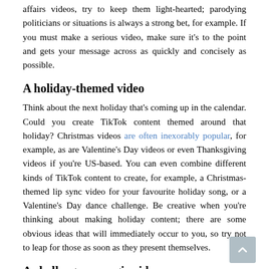affairs videos, try to keep them light-hearted; parodying politicians or situations is always a strong bet, for example. If you must make a serious video, make sure it's to the point and gets your message across as quickly and concisely as possible.
A holiday-themed video
Think about the next holiday that's coming up in the calendar. Could you create TikTok content themed around that holiday? Christmas videos are often inexorably popular, for example, as are Valentine's Day videos or even Thanksgiving videos if you're US-based. You can even combine different kinds of TikTok content to create, for example, a Christmas-themed lip sync video for your favourite holiday song, or a Valentine's Day dance challenge. Be creative when you're thinking about making holiday content; there are some obvious ideas that will immediately occur to you, so try not to leap for those as soon as they present themselves.
A challenge or magic video
If music isn't really your thing, you might want to consider making a magic video, or a different kind of challenge (extreme sports, for